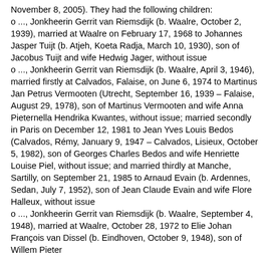November 8, 2005). They had the following children:
o ..., Jonkheerin Gerrit van Riemsdijk (b. Waalre, October 2, 1939), married at Waalre on February 17, 1968 to Johannes Jasper Tuijt (b. Atjeh, Koeta Radja, March 10, 1930), son of Jacobus Tuijt and wife Hedwig Jager, without issue
o ..., Jonkheerin Gerrit van Riemsdijk (b. Waalre, April 3, 1946), married firstly at Calvados, Falaise, on June 6, 1974 to Martinus Jan Petrus Vermooten (Utrecht, September 16, 1939 – Falaise, August 29, 1978), son of Martinus Vermooten and wife Anna Pieternella Hendrika Kwantes, without issue; married secondly in Paris on December 12, 1981 to Jean Yves Louis Bedos (Calvados, Rémy, January 9, 1947 – Calvados, Lisieux, October 5, 1982), son of Georges Charles Bedos and wife Henriette Louise Piel, without issue; and married thirdly at Manche, Sartilly, on September 21, 1985 to Arnaud Evain (b. Ardennes, Sedan, July 7, 1952), son of Jean Claude Evain and wife Flore Halleux, without issue
o ..., Jonkheerin Gerrit van Riemsdijk (b. Waalre, September 4, 1948), married at Waalre, October 28, 1972 to Elie Johan François van Dissel (b. Eindhoven, October 9, 1948), son of Willem Pieter